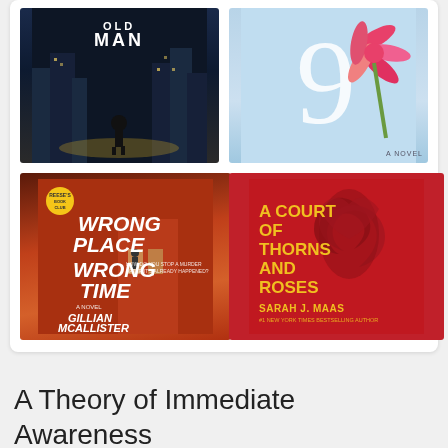[Figure (illustration): Grid of four book covers: top-left is a dark thriller 'Old Man' with a man on city streets; top-right is a novel with a large pink flower and number 9; bottom-left is 'Wrong Place Wrong Time' by Gillian McAllister with red cover and white text; bottom-right is 'A Court of Thorns and Roses' by Sarah J. Maas with red cover and gold text]
A Theory of Immediate Awareness